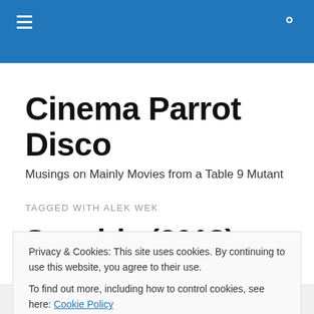Cinema Parrot Disco — navigation header with menu and search icons
Cinema Parrot Disco
Musings on Mainly Movies from a Table 9 Mutant
TAGGED WITH ALEK WEK
Suspiria (2018) Review
Happy Halloween Horror Month 2019! Today I'm reviewing...
Privacy & Cookies: This site uses cookies. By continuing to use this website, you agree to their use.
To find out more, including how to control cookies, see here: Cookie Policy
Close and accept